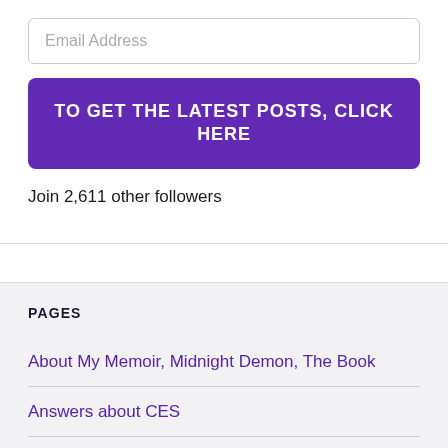Email Address
TO GET THE LATEST POSTS, CLICK HERE
Join 2,611 other followers
PAGES
About My Memoir, Midnight Demon, The Book
Answers about CES
Cauda Equina Syndrome 101 List
Contact Page